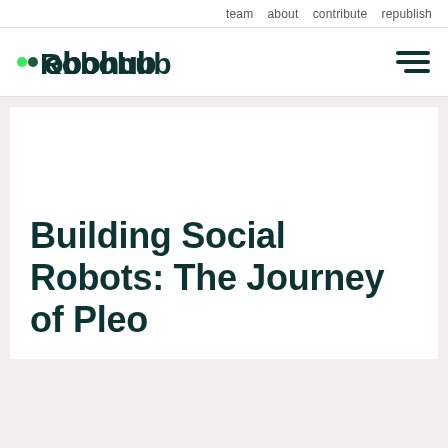team   about   contribute   republish
[Figure (logo): Robohub logo with two green dots and stylized text 'Robohub' in dark teal, with a hamburger menu icon on the right]
Building Social Robots: The Journey of Pleo